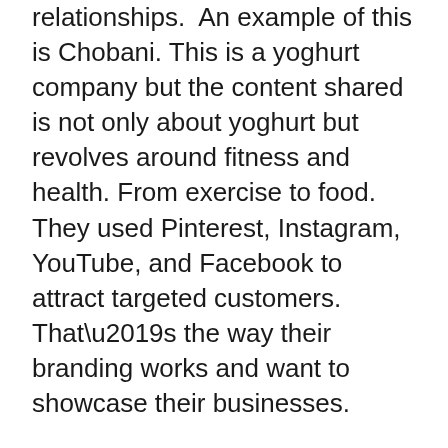relationships.  An example of this is Chobani. This is a yoghurt company but the content shared is not only about yoghurt but revolves around fitness and health. From exercise to food. They used Pinterest, Instagram, YouTube, and Facebook to attract targeted customers. That’s the way their branding works and want to showcase their businesses.
CONCLUSION
Social media is a great tool for developing